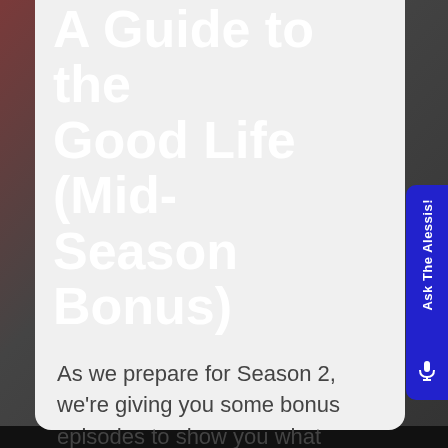A Guide to the Good Life (Mid-Season Bonus)
As we prepare for Season 2, we're giving you some bonus episodes to show you what actually happens on Sundays!
[Figure (screenshot): Play Episode button - dark blue rounded rectangle with play icon]
[Figure (screenshot): Subscribe button - light grey rounded rectangle with dropdown arrow]
[Figure (screenshot): Ask The Alessis vertical sidebar tab on the right side in dark blue]